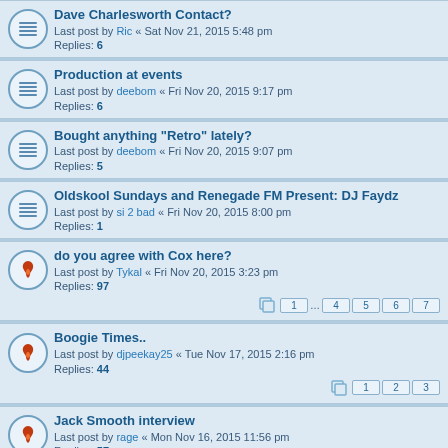Dave Charlesworth Contact?
Last post by Ric « Sat Nov 21, 2015 5:48 pm
Replies: 6
Production at events
Last post by deebom « Fri Nov 20, 2015 9:17 pm
Replies: 6
Bought anything "Retro" lately?
Last post by deebom « Fri Nov 20, 2015 9:07 pm
Replies: 5
Oldskool Sundays and Renegade FM Present: DJ Faydz
Last post by si 2 bad « Fri Nov 20, 2015 8:00 pm
Replies: 1
do you agree with Cox here?
Last post by Tykal « Fri Nov 20, 2015 3:23 pm
Replies: 97
Pages: 1 ... 4 5 6 7
Boogie Times..
Last post by djpeekay25 « Tue Nov 17, 2015 2:16 pm
Replies: 44
Pages: 1 2 3
Jack Smooth interview
Last post by rage « Mon Nov 16, 2015 11:56 pm
Replies: 57
Pages: 1 2 3 4
Raindance @ Union Vauxhall Tonight
Last post by Richruffcut « Mon Nov 16, 2015 6:44 pm
Replies: 8
Ash vs Evil Dead
Last post by Beatgraphter_v_1.0 « Mon Nov 16, 2015 2:07 pm